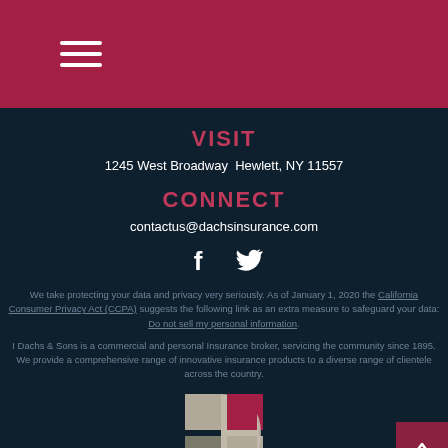Navigation menu
VISIT
1245 West Broadway  Hewlett, NY 11557
CONNECT
contactus@dachsinsurance.com
[Figure (other): Social media icons: Facebook and Twitter]
We take protecting your data and privacy very seriously. As of January 1, 2020 the California Consumer Privacy Act (CCPA) suggests the following link as an extra measure to safeguard your data: Do not sell my personal information.
I Dachs & Sons is a commercial and personal Insurance broker, servicing the community since 1895. We provide a comprehensive range of innovative insurance products to a diverse range of clientele across the country.
[Figure (logo): I Dachs & Sons logo — a D shape made from four quadrant squares in tan, crimson, and gray]